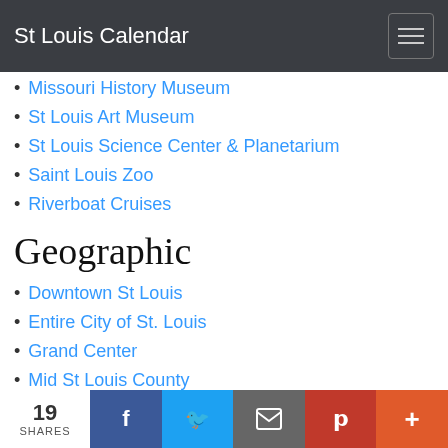St Louis Calendar
Missouri History Museum
St Louis Art Museum
St Louis Science Center & Planetarium
Saint Louis Zoo
Riverboat Cruises
Geographic
Downtown St Louis
Entire City of St. Louis
Grand Center
Mid St Louis County
West St Louis County
North St Louis County
South St Louis County
Historic St Charles
19 SHARES